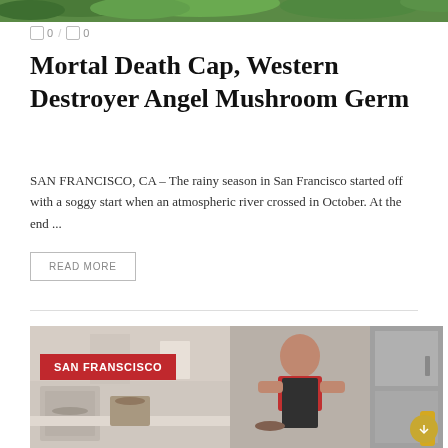[Figure (photo): Top portion of a photo showing green leaves/foliage]
0 / 0
Mortal Death Cap, Western Destroyer Angel Mushroom Germ
SAN FRANCISCO, CA – The rainy season in San Francisco started off with a soggy start when an atmospheric river crossed in October. At the end ...
READ MORE
[Figure (photo): Photo of a person in a red shirt and black apron working in a kitchen, cooking at a stove. Label 'SAN FRANSCISCO' in red overlay at top left.]